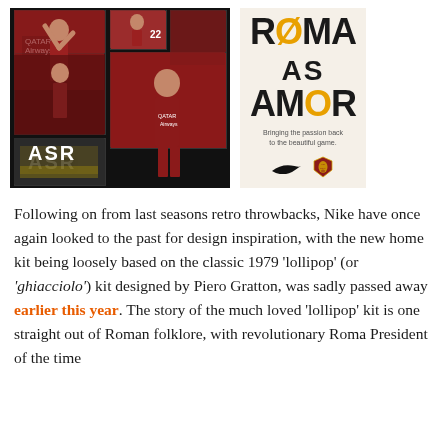[Figure (photo): Photo collage of AS Roma players in red and gold kits on black background, with 'ASR' banner visible]
[Figure (illustration): Roma AS Amor promotional graphic on cream background with stylized text 'ROMA AS AMOR' in black and gold, tagline 'Bringing the passion back to the beautiful game', Nike swoosh and AS Roma crest logos]
Following on from last seasons retro throwbacks, Nike have once again looked to the past for design inspiration, with the new home kit being loosely based on the classic 1979 'lollipop' (or 'ghiacciolo') kit designed by Piero Gratton, was sadly passed away earlier this year. The story of the much loved 'lollipop' kit is one straight out of Roman folklore, with revolutionary Roma President of the time